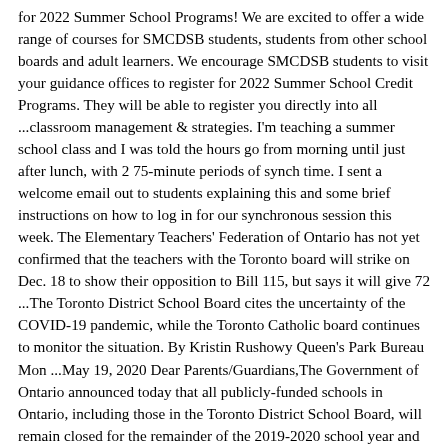for 2022 Summer School Programs! We are excited to offer a wide range of courses for SMCDSB students, students from other school boards and adult learners. We encourage SMCDSB students to visit your guidance offices to register for 2022 Summer School Credit Programs. They will be able to register you directly into all ...classroom management & strategies. I'm teaching a summer school class and I was told the hours go from morning until just after lunch, with 2 75-minute periods of synch time. I sent a welcome email out to students explaining this and some brief instructions on how to log in for our synchronous session this week. The Elementary Teachers' Federation of Ontario has not yet confirmed that the teachers with the Toronto board will strike on Dec. 18 to show their opposition to Bill 115, but says it will give 72 ...The Toronto District School Board cites the uncertainty of the COVID-19 pandemic, while the Toronto Catholic board continues to monitor the situation. By Kristin Rushowy Queen's Park Bureau Mon ...May 19, 2020 Dear Parents/Guardians,The Government of Ontario announced today that all publicly-funded schools in Ontario, including those in the Toronto District School Board, will remain closed for the remainder of the 2019-2020 school year and that remote learning will continue until the end of June. We know that news of the extended closure may be challenging for some but this decision was ...International Leadership and Peer Support Program - July 2022 Program Description: The Toronto District School Board (TDSB) welcomes students from all over the world